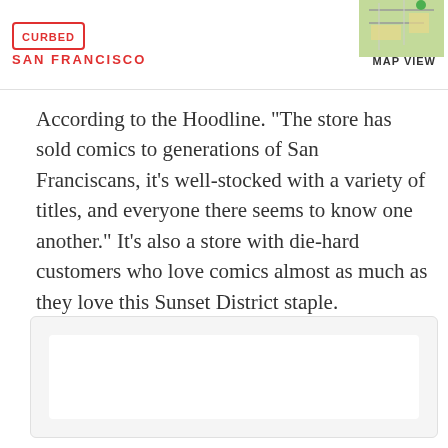CURBED SAN FRANCISCO | MAP VIEW
According to the Hoodline. "The store has sold comics to generations of San Franciscans, it's well-stocked with a variety of titles, and everyone there seems to know one another." It's also a store with die-hard customers who love comics almost as much as they love this Sunset District staple.
[Figure (screenshot): Embedded content box with white inner panel, light gray background]